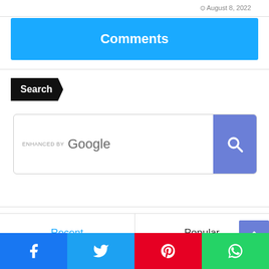August 8, 2022
Comments
Search
[Figure (screenshot): Google enhanced search bar with search button]
Recent
Popular
[Figure (infographic): Social share buttons: Facebook, Twitter, Pinterest, WhatsApp]